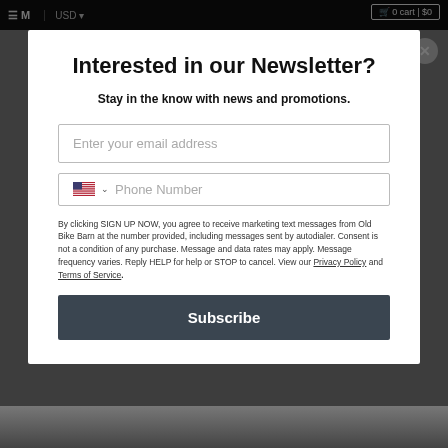Menu | USD | Cart $0
Interested in our Newsletter?
Stay in the know with news and promotions.
Enter your email address
Phone Number
By clicking SIGN UP NOW, you agree to receive marketing text messages from Old Bike Barn at the number provided, including messages sent by autodialer. Consent is not a condition of any purchase. Message and data rates may apply. Message frequency varies. Reply HELP for help or STOP to cancel. View our Privacy Policy and Terms of Service.
Subscribe